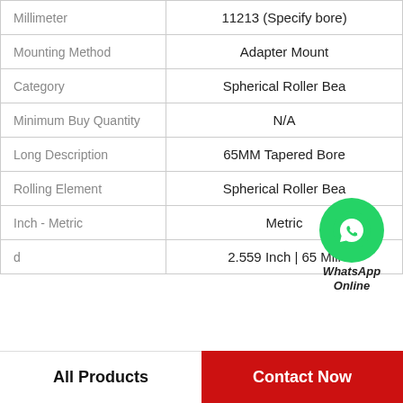| Property | Value |
| --- | --- |
| Millimeter | 11213 (Specify bore) |
| Mounting Method | Adapter Mount |
| Category | Spherical Roller Bea |
| Minimum Buy Quantity | N/A |
| Long Description | 65MM Tapered Bore |
| Rolling Element | Spherical Roller Bea |
| Inch - Metric | Metric |
| d | 2.559 Inch | 65 Mill |
All Products
Contact Now